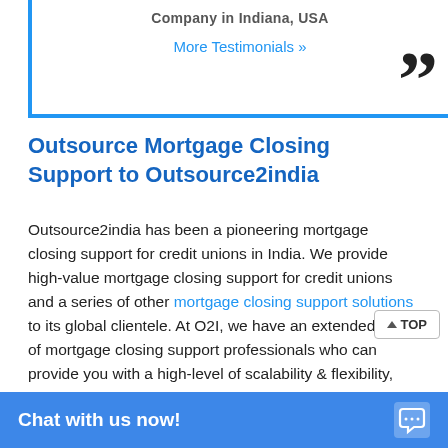Company in Indiana, USA
More Testimonials »
Outsource Mortgage Closing Support to Outsource2india
Outsource2india has been a pioneering mortgage closing support for credit unions in India. We provide high-value mortgage closing support for credit unions and a series of other mortgage closing support solutions to its global clientele. At O2I, we have an extended suite of mortgage closing support professionals who can provide you with a high-level of scalability & flexibility, which can be customized based on your service needs. We have in-depth knowledge and understanding of the US and UK mortgage and federal laws. We have rendered our services to the exact requirements of credit unions. We continuously grow and streamline our mortgage outsourcing process to deliver immeasurable value to our clients. Get in touch with us today for re... mortgage closing support...
Chat with us now!